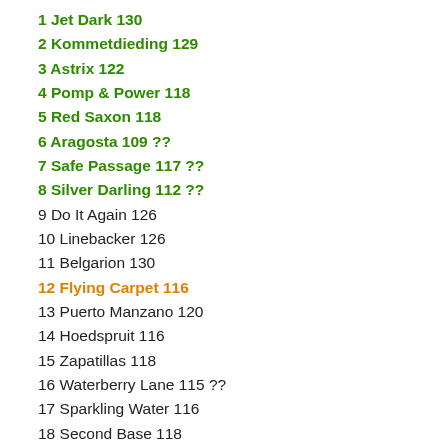1 Jet Dark 130
2 Kommetdieding 129
3 Astrix 122
4 Pomp & Power 118
5 Red Saxon 118
6 Aragosta 109 ??
7 Safe Passage 117 ??
8 Silver Darling 112 ??
9 Do It Again 126
10 Linebacker 126
11 Belgarion 130
12 Flying Carpet 116
13 Puerto Manzano 120
14 Hoedspruit 116
15 Zapatillas 118
16 Waterberry Lane 115 ??
17 Sparkling Water 116
18 Second Base 118
19 Marina 118
20 Nebraas 116